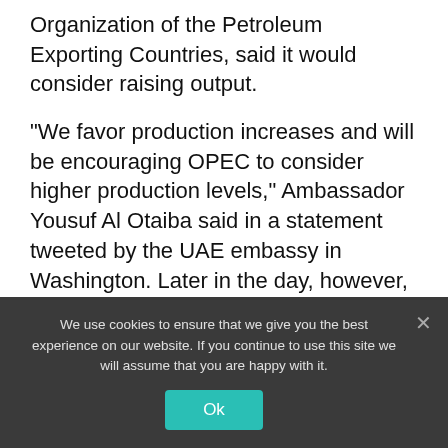Organization of the Petroleum Exporting Countries, said it would consider raising output.
“We favor production increases and will be encouraging OPEC to consider higher production levels,” Ambassador Yousuf Al Otaiba said in a statement tweeted by the UAE embassy in Washington. Later in the day, however, UAE Energy Minister Suhail al-Mazrouei said the country is committed to the OPEC+ agreement and its existing monthly production adjustment mechanism.
We use cookies to ensure that we give you the best experience on our website. If you continue to use this site we will assume that you are happy with it.